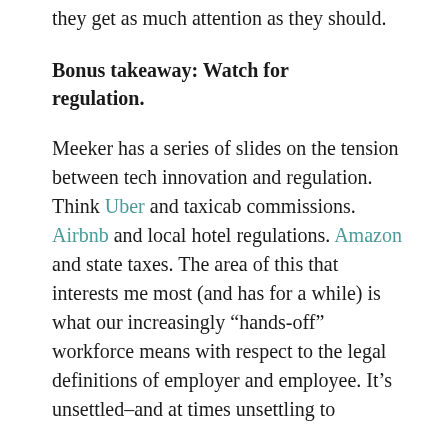they get as much attention as they should.
Bonus takeaway: Watch for regulation.
Meeker has a series of slides on the tension between tech innovation and regulation. Think Uber and taxicab commissions. Airbnb and local hotel regulations. Amazon and state taxes. The area of this that interests me most (and has for a while) is what our increasingly “hands-off” workforce means with respect to the legal definitions of employer and employee. It’s unsettled–and at times unsettling to...